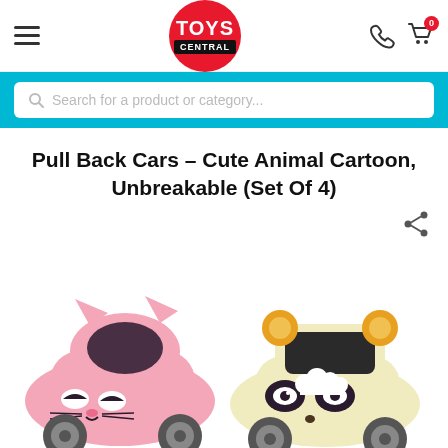[Figure (logo): Toys Central logo - red circle with white TOYS text and black CENTRAL banner]
[Figure (screenshot): Website header with hamburger menu, Toys Central logo, phone icon and cart icon with badge 0]
[Figure (screenshot): Search bar with placeholder: Search for a product or category...]
Pull Back Cars - Cute Animal Cartoon, Unbreakable (Set Of 4)
[Figure (photo): Two cute animal cartoon pull-back toy cars: a pink cat-faced car on the left and a cream/yellow panda/bear-faced car on the right]